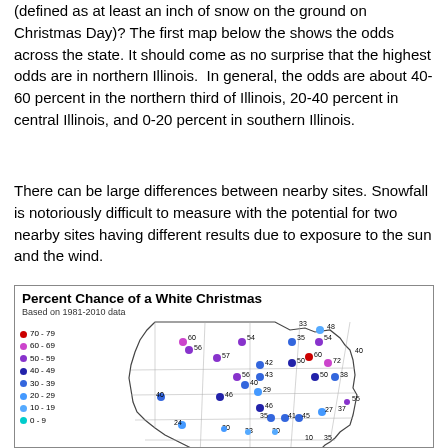(defined as at least an inch of snow on the ground on Christmas Day)? The first map below the shows the odds across the state. It should come as no surprise that the highest odds are in northern Illinois.  In general, the odds are about 40-60 percent in the northern third of Illinois, 20-40 percent in central Illinois, and 0-20 percent in southern Illinois.
There can be large differences between nearby sites. Snowfall is notoriously difficult to measure with the potential for two nearby sites having different results due to exposure to the sun and the wind.
[Figure (map): Map of Illinois showing percent chance of a white Christmas based on 1981-2010 data. Dots of various colors placed at weather station locations across the state indicate the percentage probability. Legend shows color coding: red=70-79, pink/magenta=60-69, purple=50-59, dark blue=40-49, medium blue=30-39, blue=20-29, light blue=10-19, cyan=0-9. Northern Illinois shows highest odds (40-60%), central Illinois 20-40%, southern Illinois 0-20%.]